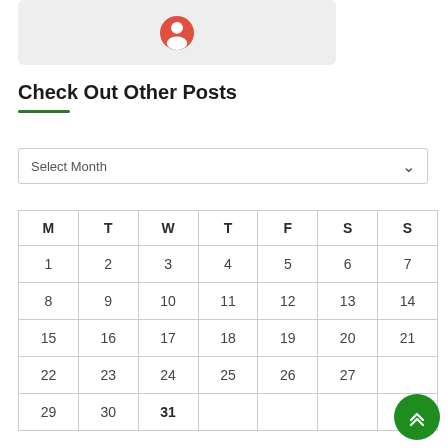[Figure (illustration): Rounded rectangle image placeholder with a red/orange user profile icon in the center, on a light gray background]
Check Out Other Posts
Select Month
| M | T | W | T | F | S | S |
| --- | --- | --- | --- | --- | --- | --- |
| 1 | 2 | 3 | 4 | 5 | 6 | 7 |
| 8 | 9 | 10 | 11 | 12 | 13 | 14 |
| 15 | 16 | 17 | 18 | 19 | 20 | 21 |
| 22 | 23 | 24 | 25 | 26 | 27 |  |
| 29 | 30 | 31 |  |  |  |  |